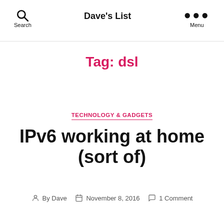Dave's List
Tag: dsl
TECHNOLOGY & GADGETS
IPv6 working at home (sort of)
By Dave   November 8, 2016   1 Comment